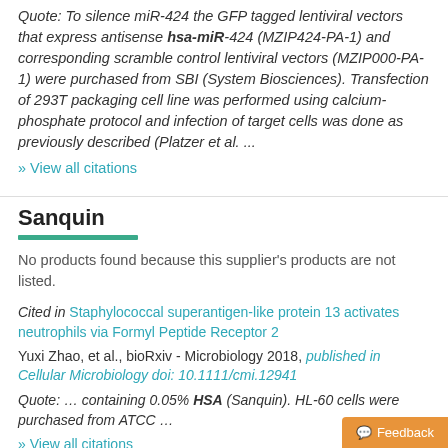Quote: To silence miR-424 the GFP tagged lentiviral vectors that express antisense hsa-miR-424 (MZIP424-PA-1) and corresponding scramble control lentiviral vectors (MZIP000-PA-1) were purchased from SBI (System Biosciences). Transfection of 293T packaging cell line was performed using calcium-phosphate protocol and infection of target cells was done as previously described (Platzer et al. ...
» View all citations
Sanquin
No products found because this supplier's products are not listed.
Cited in Staphylococcal superantigen-like protein 13 activates neutrophils via Formyl Peptide Receptor 2
Yuxi Zhao, et al., bioRxiv - Microbiology 2018, published in Cellular Microbiology doi: 10.1111/cmi.12941
Quote: … containing 0.05% HSA (Sanquin). HL-60 cells were purchased from ATCC …
» View all citations